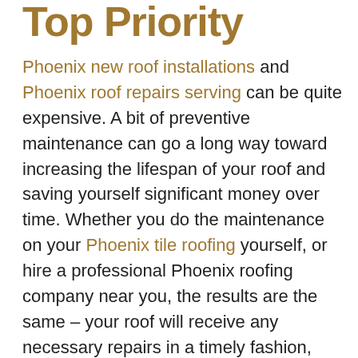Top Priority
Phoenix new roof installations and Phoenix roof repairs serving can be quite expensive. A bit of preventive maintenance can go a long way toward increasing the lifespan of your roof and saving yourself significant money over time. Whether you do the maintenance on your Phoenix tile roofing yourself, or hire a professional Phoenix roofing company near you, the results are the same – your roof will receive any necessary repairs in a timely fashion, and the chances of needing an expensive fix or entire Phoenix re-roofing will be much lower than if your roof were simply installed and then